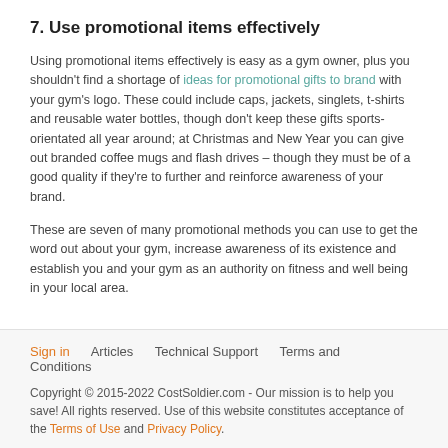7. Use promotional items effectively
Using promotional items effectively is easy as a gym owner, plus you shouldn't find a shortage of ideas for promotional gifts to brand with your gym's logo. These could include caps, jackets, singlets, t-shirts and reusable water bottles, though don't keep these gifts sports-orientated all year around; at Christmas and New Year you can give out branded coffee mugs and flash drives – though they must be of a good quality if they're to further and reinforce awareness of your brand.
These are seven of many promotional methods you can use to get the word out about your gym, increase awareness of its existence and establish you and your gym as an authority on fitness and well being in your local area.
Sign in   Articles   Technical Support   Terms and Conditions
Copyright © 2015-2022 CostSoldier.com - Our mission is to help you save! All rights reserved. Use of this website constitutes acceptance of the Terms of Use and Privacy Policy.